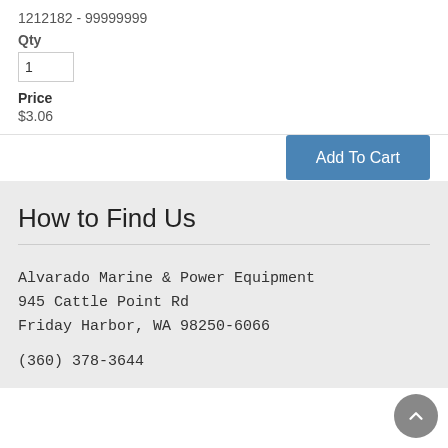1212182 - 99999999
Qty
Price
$3.06
Add To Cart
How to Find Us
Alvarado Marine & Power Equipment
945 Cattle Point Rd
Friday Harbor, WA 98250-6066
(360) 378-3644